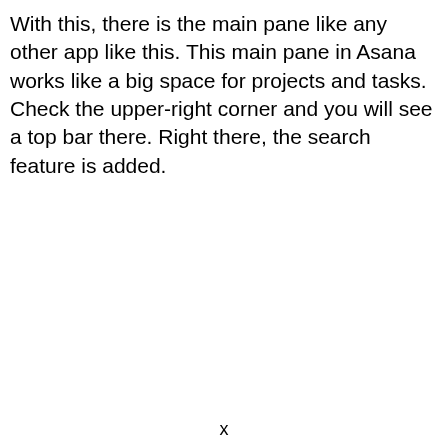With this, there is the main pane like any other app like this. This main pane in Asana works like a big space for projects and tasks. Check the upper-right corner and you will see a top bar there. Right there, the search feature is added.
x